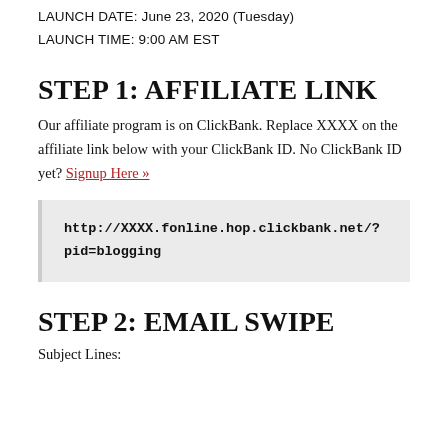LAUNCH DATE: June 23, 2020 (Tuesday)
LAUNCH TIME: 9:00 AM EST
STEP 1: AFFILIATE LINK
Our affiliate program is on ClickBank. Replace XXXX on the affiliate link below with your ClickBank ID. No ClickBank ID yet? Signup Here »
http://XXXX.fonline.hop.clickbank.net/?pid=blogging
STEP 2: EMAIL SWIPE
Subject Lines: